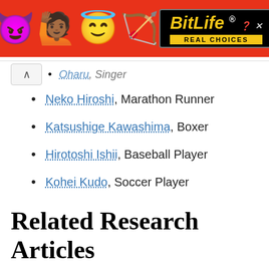[Figure (illustration): BitLife app advertisement banner with red background, emoji characters (devil, woman with raised hands, angel emoji, sperm emoji), and BitLife Real Choices logo in black and yellow]
Oharu, Singer (partial, clipped at top)
Neko Hiroshi, Marathon Runner
Katsushige Kawashima, Boxer
Hirotoshi Ishii, Baseball Player
Kohei Kudo, Soccer Player
Related Research Articles
ADVERTISEMENT